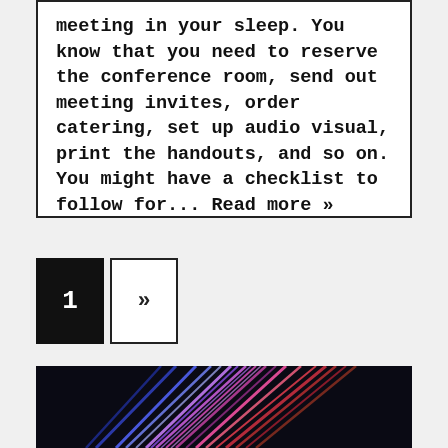meeting in your sleep. You know that you need to reserve the conference room, send out meeting invites, order catering, set up audio visual, print the handouts, and so on. You might have a checklist to follow for... Read more »
1
»
[Figure (photo): Abstract colorful light streaks on black background — blue, purple, pink, red lines radiating diagonally]